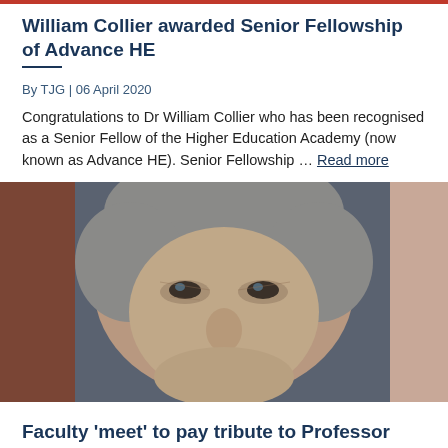William Collier awarded Senior Fellowship of Advance HE
By TJG | 06 April 2020
Congratulations to Dr William Collier who has been recognised as a Senior Fellow of the Higher Education Academy (now known as Advance HE). Senior Fellowship … Read more
[Figure (photo): Close-up portrait photograph of a middle-aged man with grey hair against a dark background]
Faculty 'meet' to pay tribute to Professor Peter Sinclair